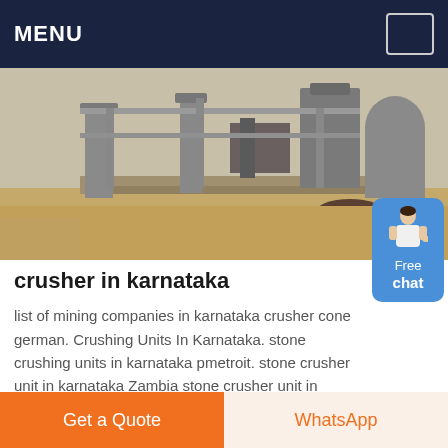MENU
[Figure (photo): Outdoor industrial stone crushing facility with concrete pillars, machinery, and sandy ground]
crusher in karnataka
list of mining companies in karnataka crusher cone german. Crushing Units In Karnataka. stone crushing units in karnataka pmetroit. stone crusher unit in karnataka Zambia stone crusher unit in karnatakaStone crushers in karnataka Crusher Unit Builders hit by ban on crushing times of india nov 19 2001 Request for Quotation You can get the price list and a DBM representative will contact you
Get a Quote | WhatsApp